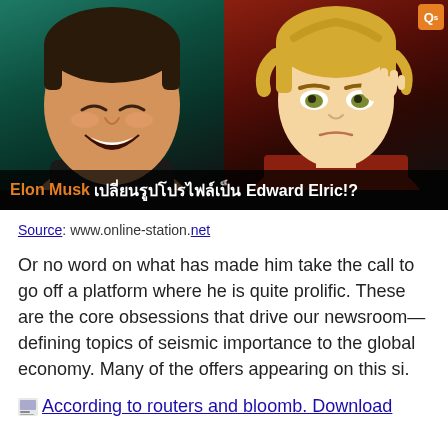[Figure (photo): Side-by-side image: left half shows Elon Musk laughing against a dark teal background, right half shows an anime character (Edward Elric) looking thoughtful with hand raised to face against a dark red background. An orange Q badge is in the top right corner. A dark caption bar at the bottom reads: 'Elon Musk เปลี่ยนรูปโปรไฟล์เป็น Edward Elric!?']
Source: www.online-station.net
Or no word on what has made him take the call to go off a platform where he is quite prolific. These are the core obsessions that drive our newsroom—defining topics of seismic importance to the global economy. Many of the offers appearing on this si.
According to routers and bloomb. Download